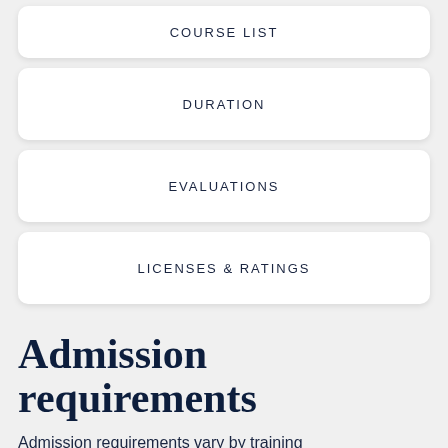COURSE LIST
DURATION
EVALUATIONS
LICENSES & RATINGS
Admission requirements
Admission requirements vary by training